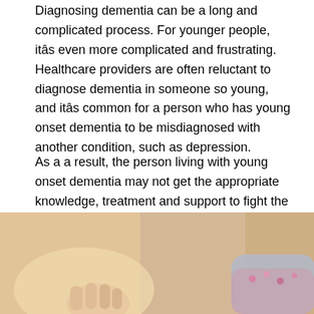Diagnosing dementia can be a long and complicated process. For younger people, itâs even more complicated and frustrating. Healthcare providers are often reluctant to diagnose dementia in someone so young, and itâs common for a person who has young onset dementia to be misdiagnosed with another condition, such as depression.
As a a result, the person living with young onset dementia may not get the appropriate knowledge, treatment and support to fight the disease.
What Is Alzheimer Disease
[Figure (photo): A smiling young girl with light hair, wearing a grey top and floral vest, reaching out her hand. Another person's hand is visible in the lower left holding hers.]